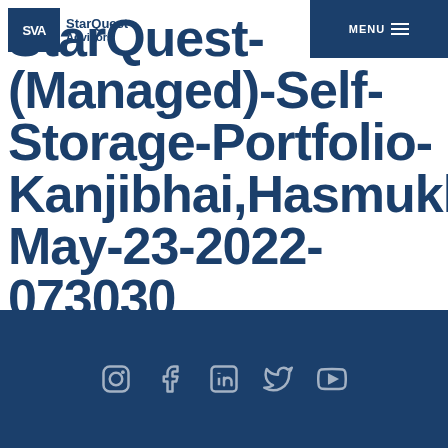MENU
StarQuest-(Managed)-Self-Storage-Portfolio-Kanjibhai,Hasmukhlal-May-23-2022-073030
[Figure (logo): SVA StarQuest Advisors logo - dark blue box with SVA letters and StarQuest Advisors text]
Social media icons: Instagram, Facebook, LinkedIn, Twitter, YouTube